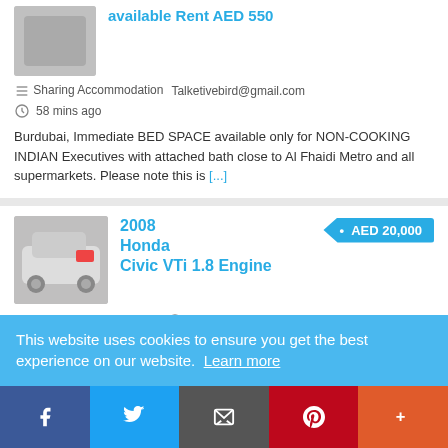available Rent AED 550
Sharing Accommodation   Talketivebird@gmail.com   58 mins ago
Burdubai, Immediate BED SPACE available only for NON-COOKING INDIAN Executives with attached bath close to Al Fhaidi Metro and all supermarkets. Please note this is [...]
2008 Honda Civic VTi 1.8 Engine
AED 20,000
Cars/SUVs   petergp24   2 hours ago
2008 Honda Civic VTi 1.8 engine Real Sales Price...
This website uses cookies to ensure you get the best experience on our website. Learn more
f  Twitter  Email  Pinterest  More